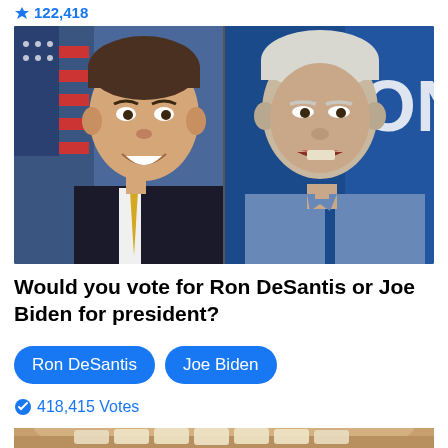122,418
[Figure (photo): Side by side photos: Ron DeSantis (official portrait, smiling, American flag background) and Joe Biden (speaking, blue shirt, blue background with 'ON' visible)]
Would you vote for Ron DeSantis or Joe Biden for president?
Ron DeSantis  Joe Biden
418,415 Votes
[Figure (photo): Close-up photo of a person's mouth/teeth, partially visible at bottom of page]